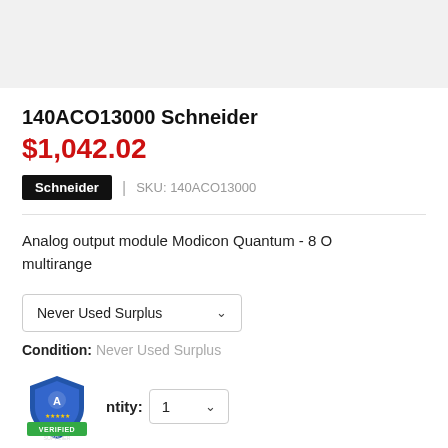140ACO13000 Schneider
$1,042.02
Schneider | SKU: 140ACO13000
Analog output module Modicon Quantum - 8 O multirange
Never Used Surplus
Condition: Never Used Surplus
[Figure (logo): Authorized Verified Supplier badge - blue shield with star ratings and green banner reading VERIFIED SUPPLIER]
Quantity: 1